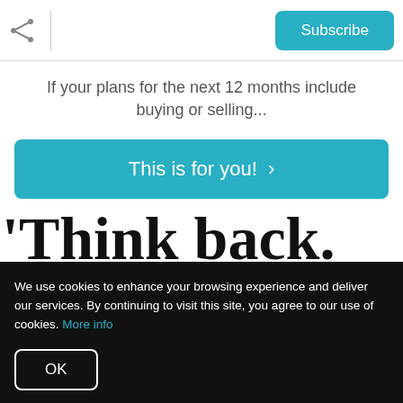Subscribe
If your plans for the next 12 months include buying or selling...
This is for you! >
'Think back. Way, way back to
We use cookies to enhance your browsing experience and deliver our services. By continuing to visit this site, you agree to our use of cookies. More info
OK